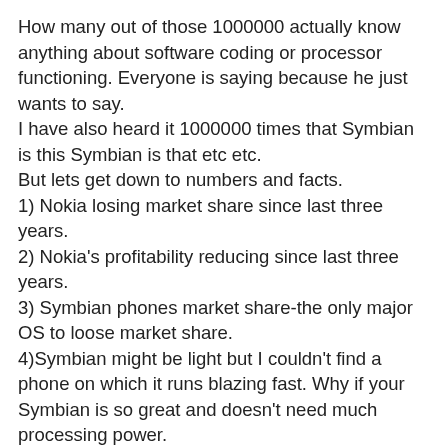How many out of those 1000000 actually know anything about software coding or processor functioning. Everyone is saying because he just wants to say.
I have also heard it 1000000 times that Symbian is this Symbian is that etc etc.
But lets get down to numbers and facts.
1) Nokia losing market share since last three years.
2) Nokia's profitability reducing since last three years.
3) Symbian phones market share-the only major OS to loose market share.
4)Symbian might be light but I couldn't find a phone on which it runs blazing fast. Why if your Symbian is so great and doesn't need much processing power.
5) Developers are not developing for Symbian.
6) Nokia and Symbian will come out soon with phones that will change the market.. Will Will Will.. But that hasn't happened in last 3 years. Infect the gap between Apple, Google on one side and Nokia on other is increasing.
Its a popular saying that 'Those who bark never bite.'
Nokia and people like you are the best example of it.
I have always used Nokia and I like the brand but now I have become frustrated waiting and waiting.
It seems important that someone starts somewhere because i